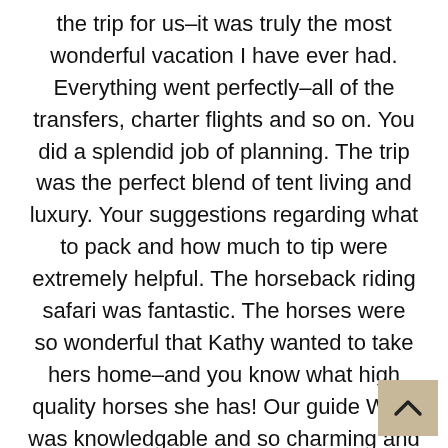the trip for us–it was truly the most wonderful vacation I have ever had. Everything went perfectly–all of the transfers, charter flights and so on. You did a splendid job of planning. The trip was the perfect blend of tent living and luxury. Your suggestions regarding what to pack and how much to tip were extremely helpful. The horseback riding safari was fantastic. The horses were so wonderful that Kathy wanted to take hers home–and you know what high quality horses she has! Our guide West was knowledgable and so charming and funny! Accommodations were comfortable and I loved sleeping out under the stars for two nights. The food was extraordinary–Grace and her sous-chef V.G. cooked everything on a metal grille over an open flame, and they managed to produce hors d'oeuvres, fresh ste vegetables, casseroles, roasts, and desserts like